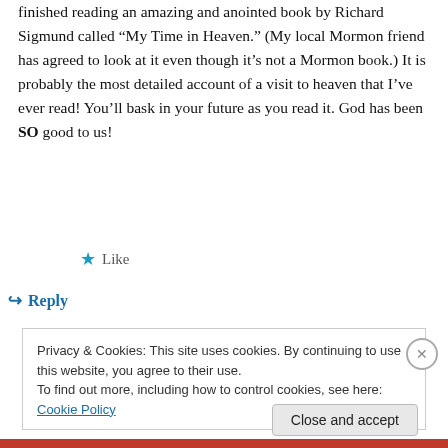finished reading an amazing and anointed book by Richard Sigmund called “My Time in Heaven.” (My local Mormon friend has agreed to look at it even though it’s not a Mormon book.) It is probably the most detailed account of a visit to heaven that I’ve ever read! You’ll bask in your future as you read it. God has been SO good to us!
★ Like
↪ Reply
Privacy & Cookies: This site uses cookies. By continuing to use this website, you agree to their use.
To find out more, including how to control cookies, see here: Cookie Policy
Close and accept